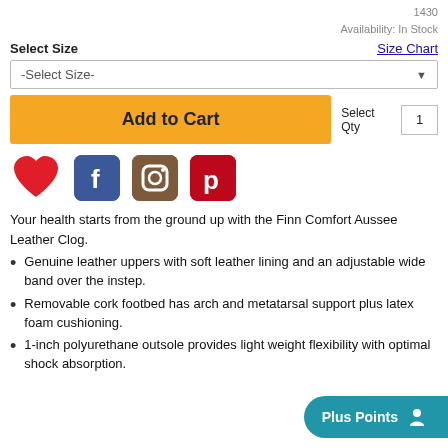1430
Availability: In Stock
Select Size
Size Chart
-Select Size-
Add to Cart
Select Qty  1
[Figure (infographic): Heart/favorite icon, Facebook icon, Instagram icon, Pinterest icon social sharing buttons]
Your health starts from the ground up with the Finn Comfort Aussee Leather Clog.
Genuine leather uppers with soft leather lining and an adjustable wide band over the instep.
Removable cork footbed has arch and metatarsal support plus latex foam cushioning.
1-inch polyurethane outsole provides light weight flexibility with optimal shock absorption.
Plus Points